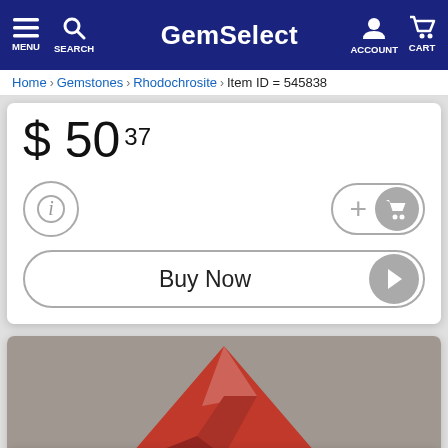GemSelect — MENU SEARCH ACCOUNT CART
Home > Gemstones > Rhodochrosite > Item ID = 545838
$ 50 37
[Figure (screenshot): Info button (i), Add to cart button with plus and cart icon]
Buy Now
[Figure (photo): Rhodochrosite gemstone photo — triangular red gem on grey background]
Like  Share  Save  Tweet